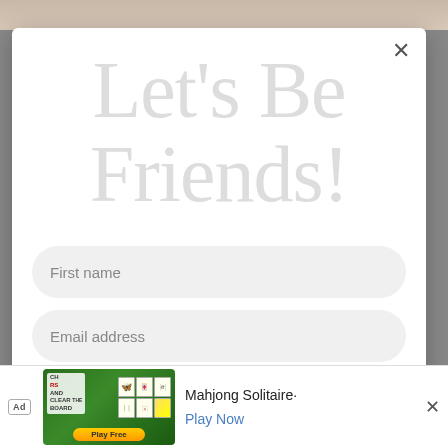[Figure (screenshot): Website modal popup with 'Let's Be Friends!' headline, First name and Email address input fields, and 'What interests you?' subheading. Background shows a soft photo. Below is a Mahjong Solitaire advertisement banner.]
Let's Be Friends!
First name
Email address
What interests you?
Mahjong Solitaire·
Play Now